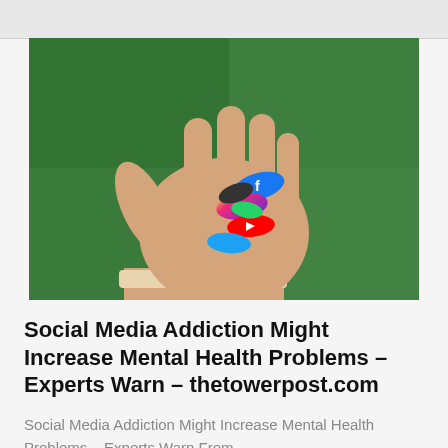[Figure (photo): A hand held open with palm up, holding several pill-shaped capsules decorated with social media app logos (Facebook, Instagram, YouTube, and others), against a green background.]
Social Media Addiction Might Increase Mental Health Problems – Experts Warn – thetowerpost.com
Social Media Addiction Might Increase Mental Health Problems – Experts Warn From